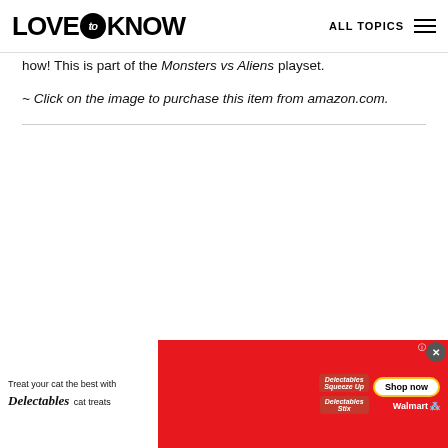LOVE to KNOW | ALL TOPICS
how! This is part of the Monsters vs Aliens playset.
~ Click on the image to purchase this item from amazon.com.
[Figure (photo): Advertisement banner: Delectables cat treats ad with cat image, Shop now button, and Walmart branding on red background]